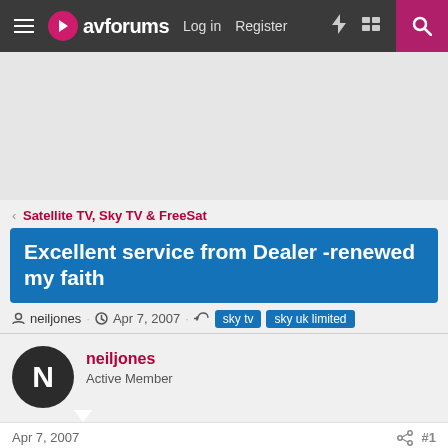avforums — Log in  Register
[Figure (other): Advertisement banner area]
< Satellite TV, Sky TV & FreeSat
Excellent service from Dealer -renewed my faith
neiljones · Apr 7, 2007 · sky tv  sky uk limited
neiljones
Active Member
Apr 7, 2007    #1
I purchased a HDMI Cable kit from Costco. Profigold cable and Adaptor.